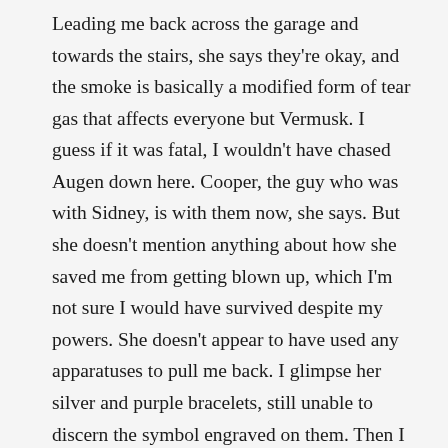Leading me back across the garage and towards the stairs, she says they're okay, and the smoke is basically a modified form of tear gas that affects everyone but Vermusk. I guess if it was fatal, I wouldn't have chased Augen down here. Cooper, the guy who was with Sidney, is with them now, she says. But she doesn't mention anything about how she saved me from getting blown up, which I'm not sure I would have survived despite my powers. She doesn't appear to have used any apparatuses to pull me back. I glimpse her silver and purple bracelets, still unable to discern the symbol engraved on them. Then I look at her shirt through her open jacket, because I can read what it says now: The best way to soothe a grammar fanatic? There, their, they're.